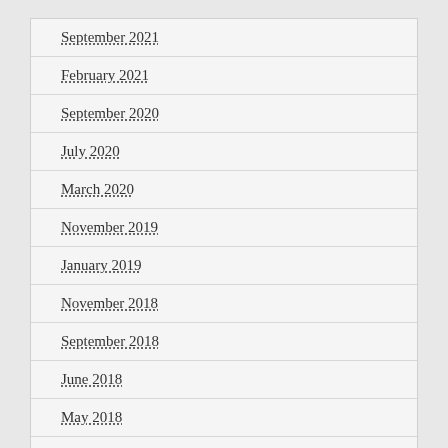September 2021
February 2021
September 2020
July 2020
March 2020
November 2019
January 2019
November 2018
September 2018
June 2018
May 2018